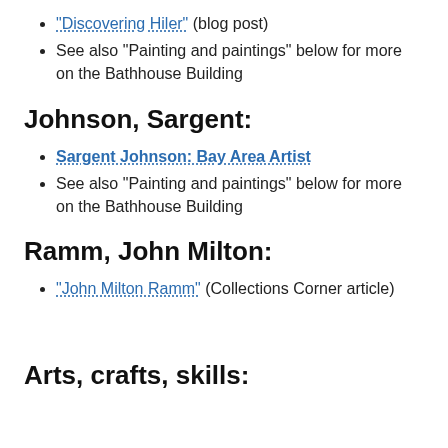"Discovering Hiler" (blog post)
See also "Painting and paintings" below for more on the Bathhouse Building
Johnson, Sargent:
Sargent Johnson: Bay Area Artist
See also "Painting and paintings" below for more on the Bathhouse Building
Ramm, John Milton:
"John Milton Ramm" (Collections Corner article)
Arts, crafts, skills: